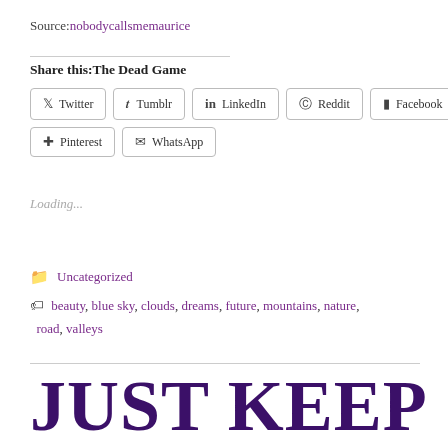Source: nobodycallsmemaurice
Share this:The Dead Game
Twitter  Tumblr  LinkedIn  Reddit  Facebook  Pinterest  WhatsApp
Loading...
Uncategorized
beauty, blue sky, clouds, dreams, future, mountains, nature, road, valleys
JUST KEEP